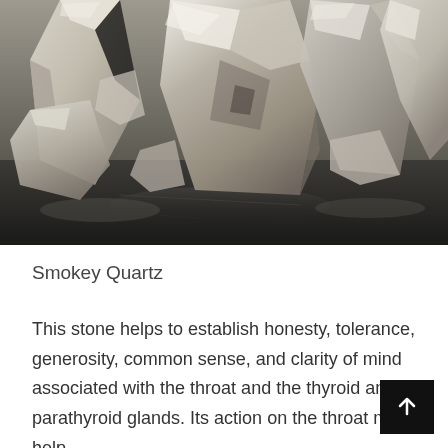[Figure (photo): Close-up photo of multiple smokey quartz crystal points clustered together on a dark reflective surface. The crystals are translucent to semi-transparent with gray, smoky, and whitish hues, showing faceted surfaces and natural mineral formations.]
Smokey Quartz
This stone helps to establish honesty, tolerance, generosity, common sense, and clarity of mind associated with the throat and the thyroid and parathyroid glands. Its action on the throat may help